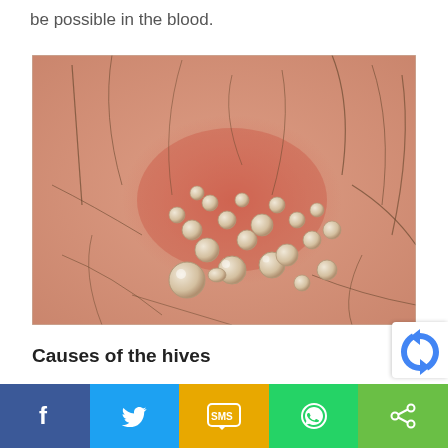be possible in the blood.
[Figure (photo): Close-up medical photo of skin showing a cluster of raised, fluid-filled blisters/hives on reddened skin, with visible body hair around the affected area.]
Causes of the hives
[Figure (other): Social sharing bar with Facebook, Twitter, SMS, WhatsApp, and generic share buttons]
[Figure (other): reCAPTCHA badge in bottom right corner]